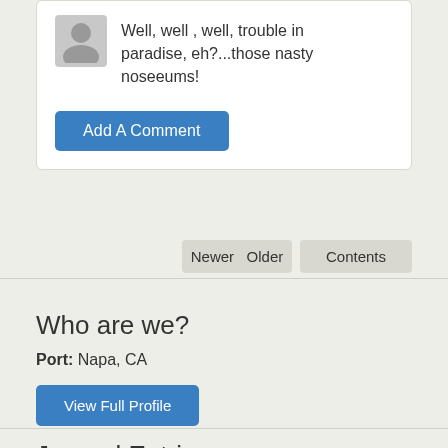Well, well , well, trouble in paradise, eh?...those nasty noseeums!
Add A Comment
Newer  Older
Contents
Who are we?
Port: Napa, CA
View Full Profile
Journal Entries